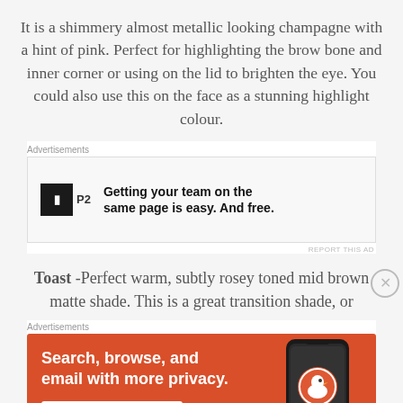It is a shimmery almost metallic looking champagne with a hint of pink. Perfect for highlighting the brow bone and inner corner or using on the lid to brighten the eye. You could also use this on the face as a stunning highlight colour.
[Figure (other): Advertisement banner for P2 app: logo with black square and 'P2' text, tagline 'Getting your team on the same page is easy. And free.']
Toast -Perfect warm, subtly rosey toned mid brown matte shade. This is a great transition shade, or
[Figure (other): Advertisement banner for DuckDuckGo app: orange background, text 'Search, browse, and email with more privacy. All in One Free App', phone graphic with DuckDuckGo logo and text 'DuckDuckGo.']